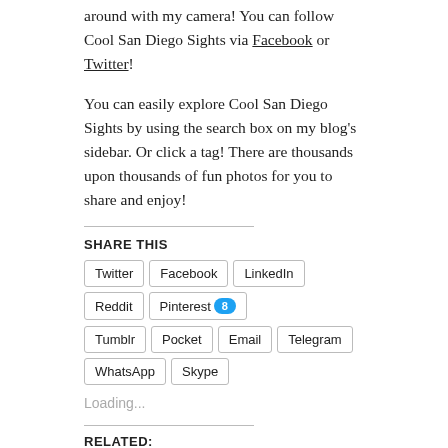around with my camera! You can follow Cool San Diego Sights via Facebook or Twitter!
You can easily explore Cool San Diego Sights by using the search box on my blog's sidebar. Or click a tag! There are thousands upon thousands of fun photos for you to share and enjoy!
SHARE THIS
Twitter
Facebook
LinkedIn
Reddit
Pinterest 8
Tumblr
Pocket
Email
Telegram
WhatsApp
Skype
Loading...
RELATED:
[Figure (photo): Ship masts and rigging silhouetted against a blue sky]
[Figure (photo): Person on a surfboard or water ski near the ocean, framed artwork]